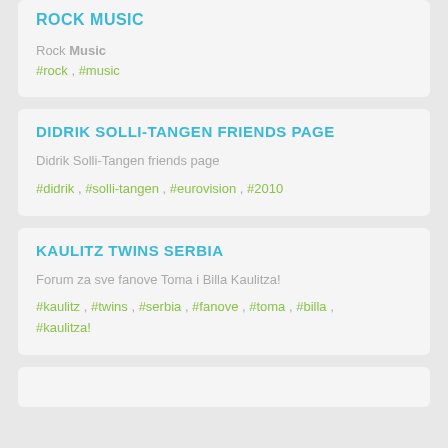ROCK MUSIC
Rock Music
#rock , #music
DIDRIK SOLLI-TANGEN FRIENDS PAGE
Didrik Solli-Tangen friends page
#didrik , #solli-tangen , #eurovision , #2010
KAULITZ TWINS SERBIA
Forum za sve fanove Toma i Billa Kaulitza!
#kaulitz , #twins , #serbia , #fanove , #toma , #billa , #kaulitza!